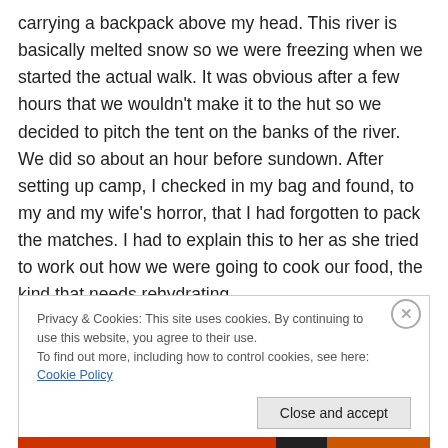carrying a backpack above my head. This river is basically melted snow so we were freezing when we started the actual walk. It was obvious after a few hours that we wouldn't make it to the hut so we decided to pitch the tent on the banks of the river. We did so about an hour before sundown. After setting up camp, I checked in my bag and found, to my and my wife's horror, that I had forgotten to pack the matches. I had to explain this to her as she tried to work out how we were going to cook our food, the kind that needs rehydrating.
Privacy & Cookies: This site uses cookies. By continuing to use this website, you agree to their use.
To find out more, including how to control cookies, see here: Cookie Policy